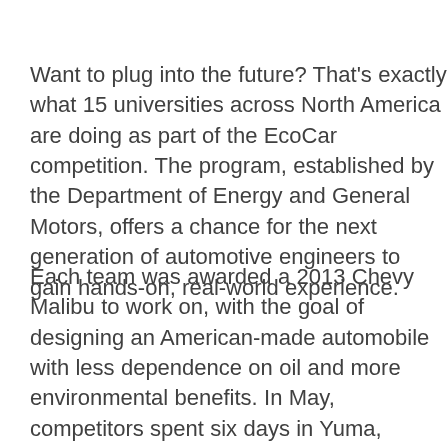Want to plug into the future? That's exactly what 15 universities across North America are doing as part of the EcoCar competition. The program, established by the Department of Energy and General Motors, offers a chance for the next generation of automotive engineers to gain hands-on, real-world experience.
Each team was awarded a 2013 Chevy Malibu to work on, with the goal of designing an American-made automobile with less dependence on oil and more environmental benefits. In May, competitors spent six days in Yuma, Arizona, testing out the drive quality and environmental impact of their vehicle, which were...